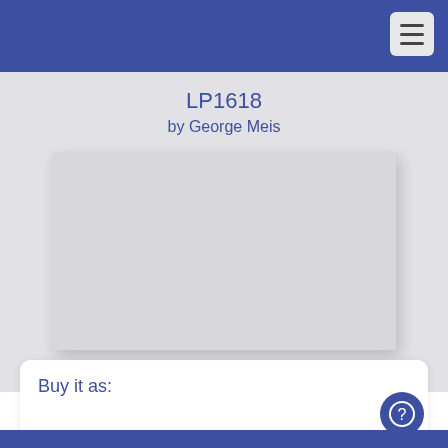LP1618 by George Meis
LP1618
by George Meis
[Figure (illustration): Blank album cover placeholder image (grey rectangle with drop shadow)]
Buy it as: